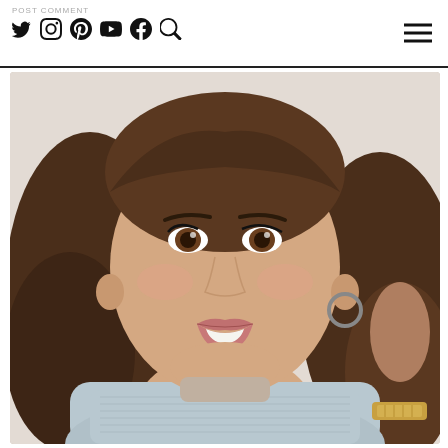POST COMMENT
[Figure (photo): Selfie portrait of a young woman with brown wavy hair, brown eyes, pink lipstick, wearing a light grey ribbed turtleneck top and a gold bracelet watch, smiling at the camera against a light background.]